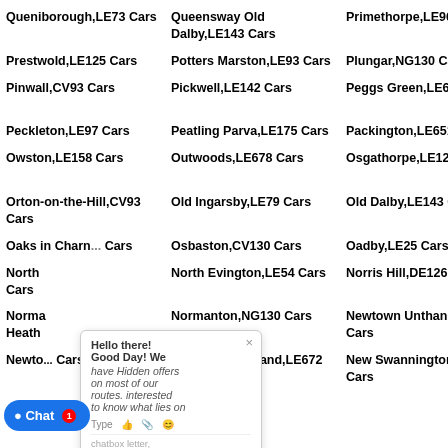Queniborough,LE73 Cars
Queensway Old Dalby,LE143 Cars
Primethorpe,LE96 Cars
Ru...
Prestwold,LE125 Cars
Potters Marston,LE93 Cars
Plungar,NG130 Cars
Po...
Pinwall,CV93 Cars
Pickwell,LE142 Cars
Peggs Green,LE678 Cars
Pe... Ca...
Peckleton,LE97 Cars
Peatling Parva,LE175 Cars
Packington,LE651 Cars
Pe...
Owston,LE158 Cars
Outwoods,LE678 Cars
Osgathorpe,LE129 Cars
Os... Ca...
Orton-on-the-Hill,CV93 Cars
Old Ingarsby,LE79 Cars
Old Dalby,LE143 Cars
Od...
Oaks in Charnwood... Cars
Osbaston,CV130 Cars
Oadby,LE25 Cars
No...
North... Cars
North Evington,LE54 Cars
Norris Hill,DE126 Cars
No... Ca...
Normanton Heath...
Normanton,NG130 Cars
Newtown Unthank,LE99 Cars
Ne... Ca...
Newton... Cars
Newton Burgoland,LE672 Cars
New Swannington,LE673 Cars
Ne...